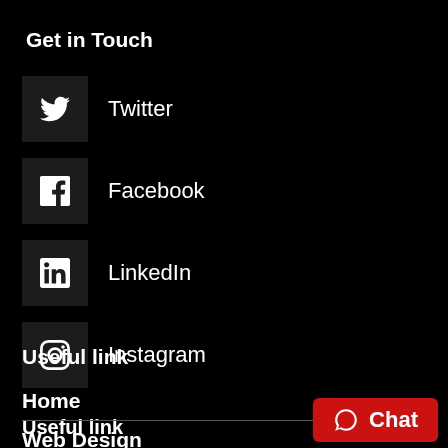Get in Touch
Twitter
Facebook
LinkedIn
Instagram
Useful link
Home
Web Design
Marketing
Chat